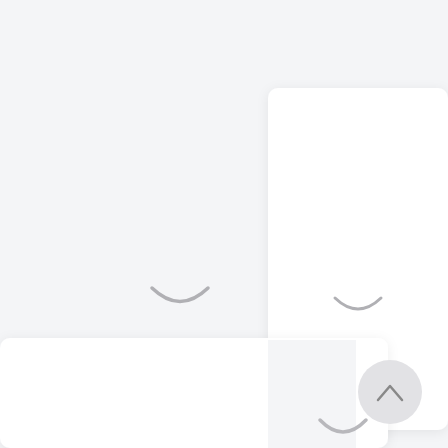Industry 4.0.
[Figure (screenshot): App UI screenshot showing white card panels with loading spinner icons (smile/arc shapes) on a light gray background, plus a circular back-to-top button with a chevron arrow in the bottom right corner.]